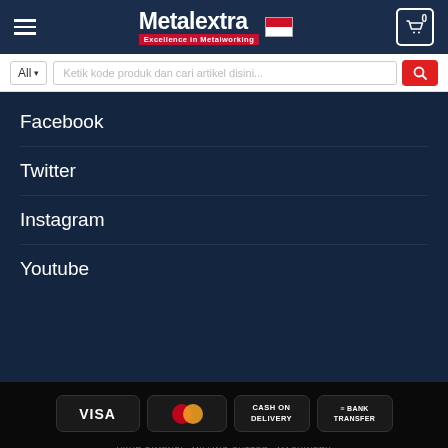[Figure (logo): Metalextra logo with 'Excellence in Metalworking' tagline and Indonesian flag]
Ketik kode produk dan cari artikel disini...
Facebook
Twitter
Instagram
Youtube
[Figure (infographic): Payment method icons: VISA, MasterCard, Cash on Delivery, Bank Transfer]
UKUR DIMENSI  MILLING CUTTER  MACHINERY  INSPECTION & TESTER  MICROMETER GAUGE  MICROMETER GAUGE  SAWING  ABRASIVE  MRO & PNEUMATICS  SOLID DRILL